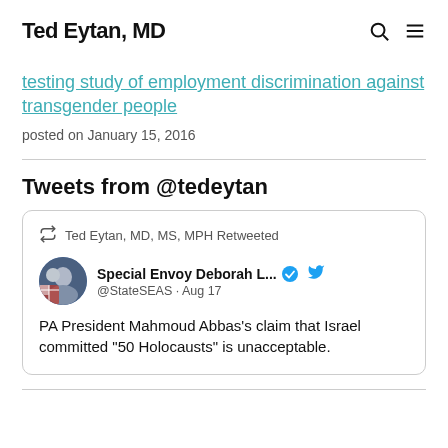Ted Eytan, MD
testing study of employment discrimination against transgender people
posted on January 15, 2016
Tweets from @tedeytan
[Figure (screenshot): Embedded tweet card: Ted Eytan, MD, MS, MPH Retweeted. Special Envoy Deborah L... @StateSEAS · Aug 17. PA President Mahmoud Abbas's claim that Israel committed "50 Holocausts" is unacceptable.]